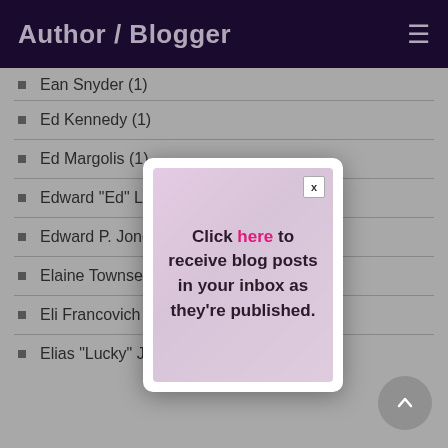Author / Blogger
Ean Snyder (1)
Ed Kennedy (1)
Ed Margolis (1)
Edward "Ed" Le…
Edward P. Jones…
Elaine Townsend (1)
Eli Francovich (1)
Elias "Lucky" Jackson Baldwin (1)
[Figure (screenshot): Modal popup with close button (x) and text: Click here to receive blog posts in your inbox as they're published. The word 'here' is in pink/magenta.]